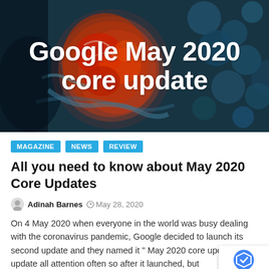[Figure (photo): Hero image showing a globe-like red and orange sphere surrounded by blue abstract liquid/ink swirls, with large white text overlay reading 'Google May 2020 core update']
Google May 2020 core update
MAGAZINE
NEWS
REVIEW
All you need to know about May 2020 Core Updates
Adinah Barnes   May 28, 2020
On 4 May 2020 when everyone in the world was busy dealing with the coronavirus pandemic, Google decided to launch its second update and they named it " May 2020 core update". update all attention often so after it launched, but